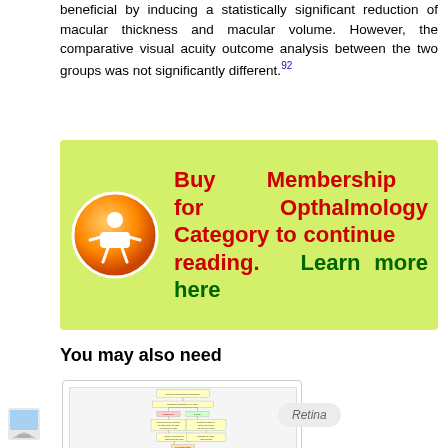beneficial by inducing a statistically significant reduction of macular thickness and macular volume. However, the comparative visual acuity outcome analysis between the two groups was not significantly different.92
[Figure (infographic): Green banner with orange membership icon and text: Buy Membership for Opthalmology Category to continue reading. Learn more here]
You may also need
[Figure (flowchart): Flowchart for Neovascular (Exudative or Wet) Age-Related Macular Degeneration - Retina category]
Neovascular (Exudative or "Wet") Age-Related Macular Degeneration